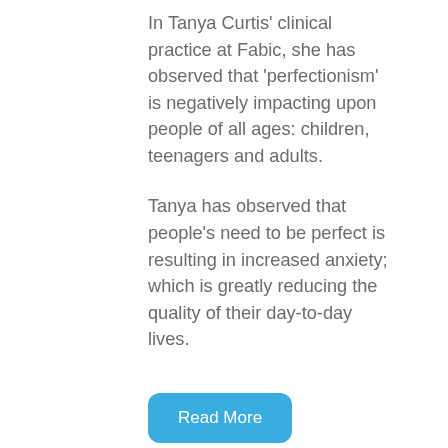In Tanya Curtis' clinical practice at Fabic, she has observed that 'perfectionism' is negatively impacting upon people of all ages: children, teenagers and adults.
Tanya has observed that people's need to be perfect is resulting in increased anxiety; which is greatly reducing the quality of their day-to-day lives.
Read More
Raising Responsible People - Parenting Course
One of the most significant roles a person chooses is to support a child to become an adult... the